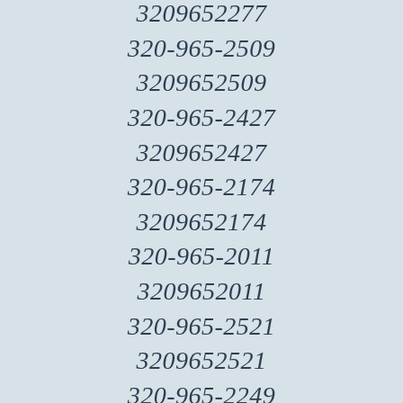3209652277
320-965-2509
3209652509
320-965-2427
3209652427
320-965-2174
3209652174
320-965-2011
3209652011
320-965-2521
3209652521
320-965-2249
3209652249
320-965-2739
3209652739
320-965-2637